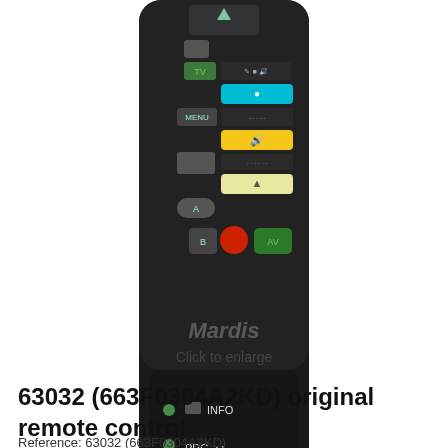[Figure (photo): Partial view of a black TV remote control showing buttons including TV, MENU, INFO, PRG., and volume/channel controls with colored buttons (teal, yellow, pale yellow, red, green). Watermark text 'Mardis' visible.]
Click to enlarge
63032 (663F0304A2KD) original remote control
Reference: 63032 (663F0304A2KD)